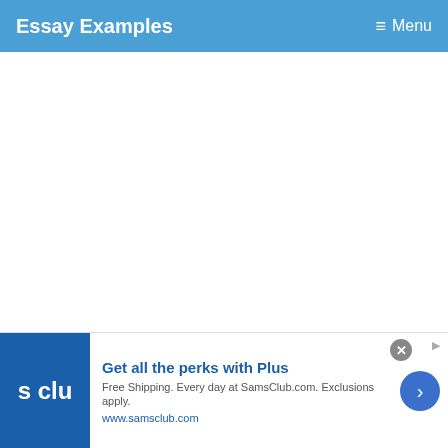Essay Examples  ≡ Menu
[Figure (other): White advertisement placeholder area]
10. External Threats of WarCurrent Rating:2 Forecast 5 Years:2
[Figure (other): Advertisement banner: Get all the perks with Plus. Free Shipping. Every day at SamsClub.com. Exclusions apply. www.samsclub.com]